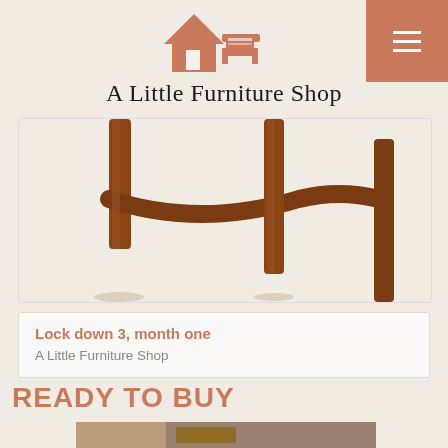A Little Furniture Shop
[Figure (logo): A Little Furniture Shop logo with house and furniture icon in terracotta/rust color]
[Figure (photo): Close-up photo of wooden furniture chair or table legs in walnut/brown wood on a light background]
Lock down 3, month one
A Little Furniture Shop
READY TO BUY
[Figure (photo): Partial photo of furniture in a room setting, cropped at bottom of page]